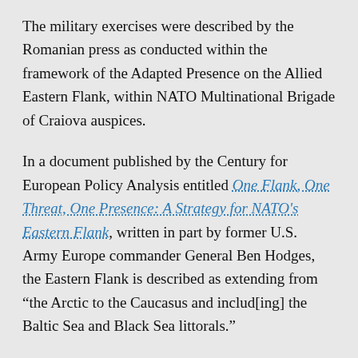The military exercises were described by the Romanian press as conducted within the framework of the Adapted Presence on the Allied Eastern Flank, within NATO Multinational Brigade of Craiova auspices.
In a document published by the Century for European Policy Analysis entitled One Flank, One Threat, One Presence: A Strategy for NATO's Eastern Flank, written in part by former U.S. Army Europe commander General Ben Hodges, the Eastern Flank is described as extending from “the Arctic to the Caucasus and includ[ing] the Baltic Sea and Black Sea littorals.”
The Pentagon’s European eastern flank thirty years ago was the middle of Berlin. It is now Russia’s western border from the Arctic Circle to the Caucasus.